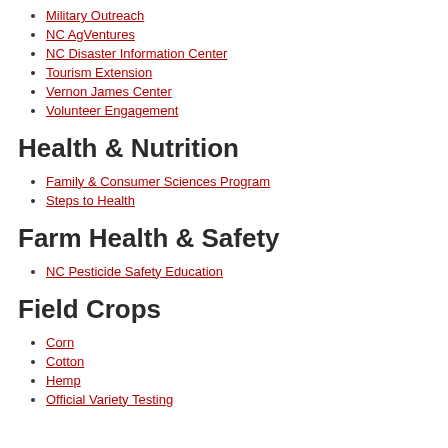Military Outreach
NC AgVentures
NC Disaster Information Center
Tourism Extension
Vernon James Center
Volunteer Engagement
Health & Nutrition
Family & Consumer Sciences Program
Steps to Health
Farm Health & Safety
NC Pesticide Safety Education
Field Crops
Corn
Cotton
Hemp
Official Variety Testing